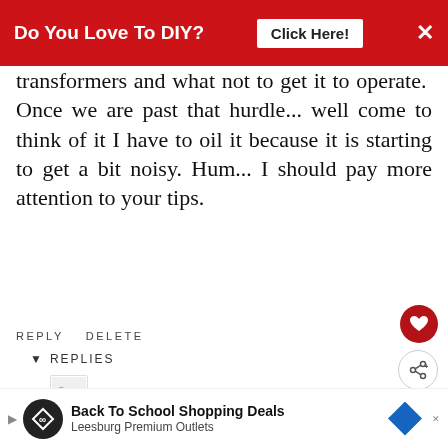[Figure (infographic): Red banner advertisement: 'Do You Love To DIY? Click Here!' with X close button]
transformers and what not to get it to operate. Once we are past that hurdle... well come to think of it I have to oil it because it is starting to get a bit noisy. Hum... I should pay more attention to your tips.
REPLY DELETE
▼ REPLIES
Kim
JUNE 30, 2017 AT 11:03 PM
[Figure (infographic): WHAT'S NEXT box with thumbnail image: Cheap And Easy Curtai...]
Mary, I can see how the need for a number of
[Figure (infographic): Bottom advertisement: Back To School Shopping Deals - Leesburg Premium Outlets]